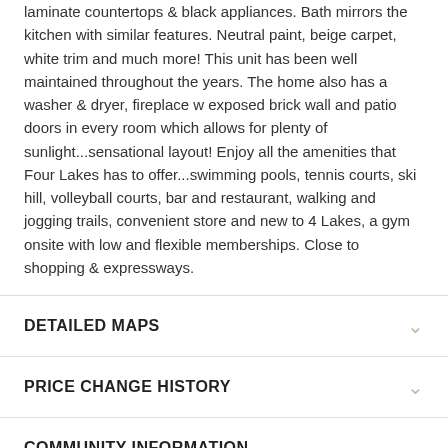laminate countertops & black appliances. Bath mirrors the kitchen with similar features. Neutral paint, beige carpet, white trim and much more! This unit has been well maintained throughout the years. The home also has a washer & dryer, fireplace w exposed brick wall and patio doors in every room which allows for plenty of sunlight...sensational layout! Enjoy all the amenities that Four Lakes has to offer...swimming pools, tennis courts, ski hill, volleyball courts, bar and restaurant, walking and jogging trails, convenient store and new to 4 Lakes, a gym onsite with low and flexible memberships. Close to shopping & expressways.
DETAILED MAPS
PRICE CHANGE HISTORY
COMMUNITY INFORMATION
ARCHITECTURE